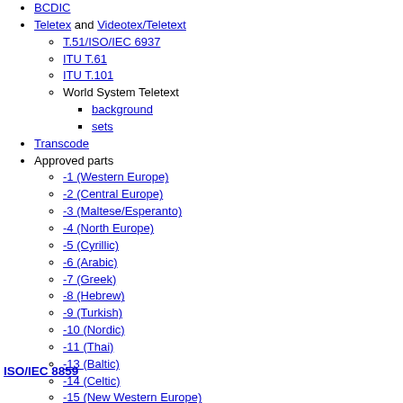BCDIC
Teletex and Videotex/Teletext
T.51/ISO/IEC 6937
ITU T.61
ITU T.101
World System Teletext
background
sets
Transcode
Approved parts
-1 (Western Europe)
-2 (Central Europe)
-3 (Maltese/Esperanto)
-4 (North Europe)
-5 (Cyrillic)
-6 (Arabic)
-7 (Greek)
-8 (Hebrew)
-9 (Turkish)
-10 (Nordic)
-11 (Thai)
-13 (Baltic)
-14 (Celtic)
-15 (New Western Europe)
-16 (Romanian)
ISO/IEC 8859